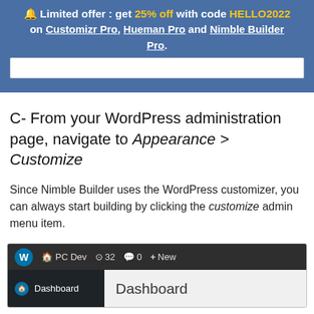[Figure (screenshot): Promotional banner with blue background showing limited offer text with 25% off code HELLO2022 on Customizr Pro, Hueman Pro and Nimble Builder Pro, overlaid on a partial website screenshot]
C- From your WordPress administration page, navigate to Appearance > Customize
Since Nimble Builder uses the WordPress customizer, you can always start building by clicking the customize admin menu item.
[Figure (screenshot): WordPress admin dashboard screenshot showing the top toolbar with WordPress logo, PC Dev, 32 updates, 0 comments, New button, and the Dashboard menu item highlighted in blue sidebar with Dashboard panel open]